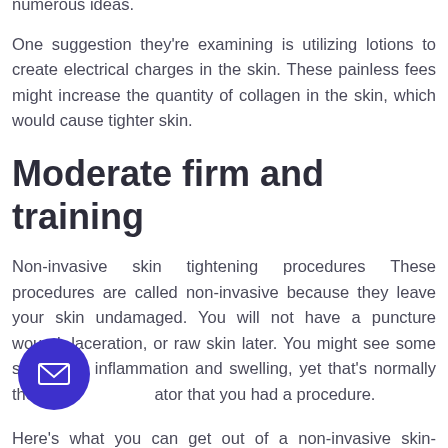numerous ideas.
One suggestion they're examining is utilizing lotions to create electrical charges in the skin. These painless fees might increase the quantity of collagen in the skin, which would cause tighter skin.
Moderate firm and training
Non-invasive skin tightening procedures These procedures are called non-invasive because they leave your skin undamaged. You will not have a puncture wound, laceration, or raw skin later. You might see some short-lived inflammation and swelling, yet that's normally the only ator that you had a procedure.
Here's what you can get out of a non-invasive skin-tightening treatment: